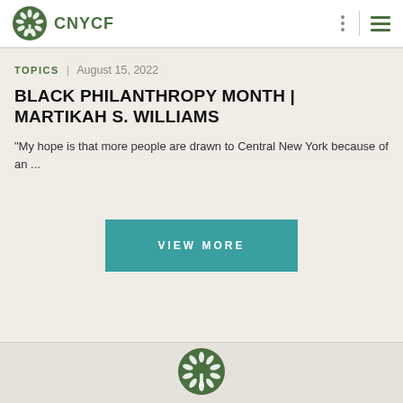CNYCF
TOPICS | August 15, 2022
BLACK PHILANTHROPY MONTH | MARTIKAH S. WILLIAMS
"My hope is that more people are drawn to Central New York because of an ...
VIEW MORE
[Figure (logo): CNYCF tree/leaf logo icon at bottom of page]